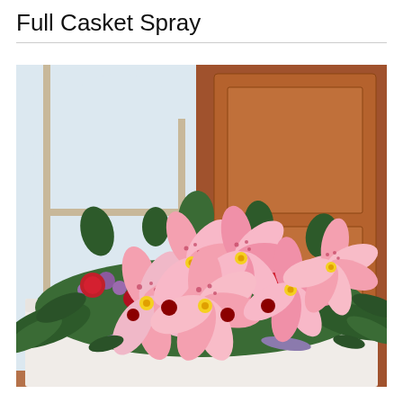Full Casket Spray
[Figure (photo): A full casket spray floral arrangement featuring pink stargazer lilies, red roses, red carnations, purple/lavender flowers, and green foliage arranged on top of a white casket. A window with an arched top and wood-paneled wall is visible in the background.]